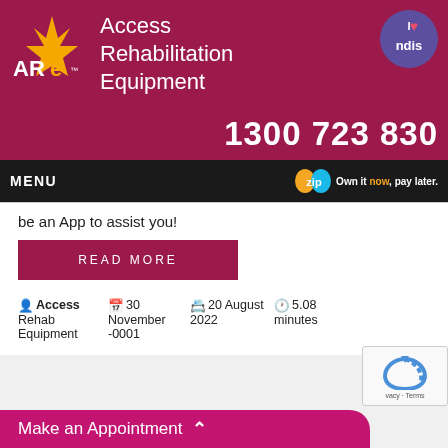[Figure (logo): Access Rehabilitation Equipment (ARE) logo with yellow and white star/person figure on dark red background]
Access Rehabilitation Equipment
[Figure (logo): I love NDIS badge - purple circle with heart and ndis text]
1300 723 830
MENU   zip Own it now, pay later.
be an App to assist you!
READ MORE
Access Rehab Equipment   30 November -0001   20 August 2022   5.08 minutes
Make an Appointment